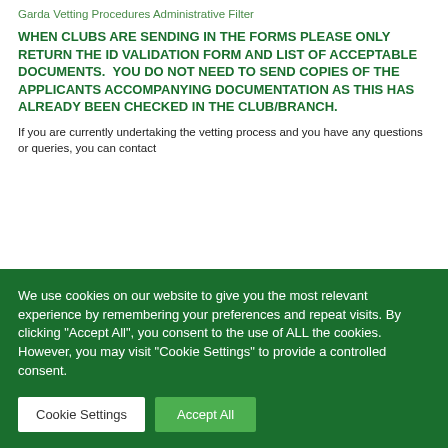Garda Vetting Procedures Administrative Filter
WHEN CLUBS ARE SENDING IN THE FORMS PLEASE ONLY RETURN THE ID VALIDATION FORM AND LIST OF ACCEPTABLE DOCUMENTS.  YOU DO NOT NEED TO SEND COPIES OF THE APPLICANTS ACCOMPANYING DOCUMENTATION AS THIS HAS ALREADY BEEN CHECKED IN THE CLUB/BRANCH.
If you are currently undertaking the vetting process and you have any questions or queries, you can contact
We use cookies on our website to give you the most relevant experience by remembering your preferences and repeat visits. By clicking "Accept All", you consent to the use of ALL the cookies. However, you may visit "Cookie Settings" to provide a controlled consent.